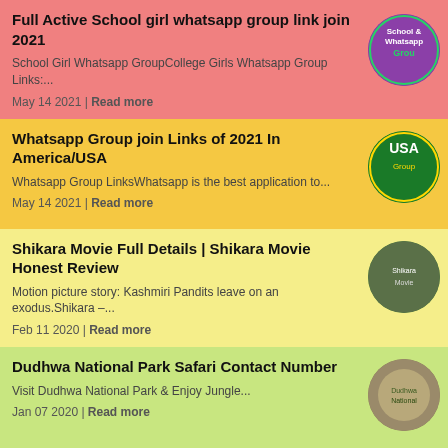Full Active School girl whatsapp group link join 2021
School Girl Whatsapp GroupCollege Girls Whatsapp Group Links:...
May 14 2021 | Read more
[Figure (illustration): Circular thumbnail with purple background, school/whatsapp group icon]
Whatsapp Group join Links of 2021 In America/USA
Whatsapp Group LinksWhatsapp is the best application to...
May 14 2021 | Read more
[Figure (illustration): Circular thumbnail with green background showing USA group]
Shikara Movie Full Details | Shikara Movie Honest Review
Motion picture story: Kashmiri Pandits leave on an exodus.Shikara –...
Feb 11 2020 | Read more
[Figure (photo): Circular photo thumbnail of movie Shikara]
Dudhwa National Park Safari Contact Number
Visit Dudhwa National Park & Enjoy Jungle...
Jan 07 2020 | Read more
[Figure (photo): Circular thumbnail of Dudhwa National Park with bird]
Moviesmon | 18+ Movies, Original Web Series, Dual Audio Hollywood, Bollywood Movies
Moviesmon 2021 online is a popular website for providing Tamil,...
[Figure (illustration): Circular thumbnail with green/movie grid background]